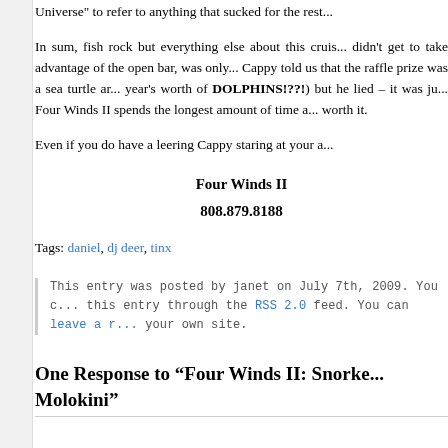Universe" to refer to anything that sucked for the rest...
In sum, fish rock but everything else about this cruis... didn't get to take advantage of the open bar, was only... Cappy told us that the raffle prize was a sea turtle ar... year's worth of DOLPHINS!??!) but he lied – it was ju... Four Winds II spends the longest amount of time a... worth it.
Even if you do have a leering Cappy staring at your a...
Four Winds II
808.879.8188
Tags: daniel, dj deer, tinx
This entry was posted by janet on July 7th, 2009. You c... this entry through the RSS 2.0 feed. You can leave a r... your own site.
One Response to “Four Winds II: Snorke... Molokini”